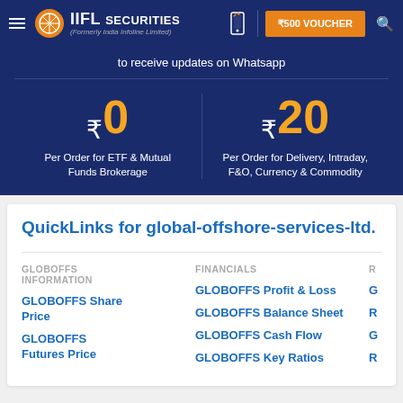IIFL Securities (Formerly India Infoline Limited) | ₹500 VOUCHER
to receive updates on Whatsapp
₹0 Per Order for ETF & Mutual Funds Brokerage
₹20 Per Order for Delivery, Intraday, F&O, Currency & Commodity
QuickLinks for global-offshore-services-ltd.
GLOBOFFS INFORMATION
GLOBOFFS Share Price
GLOBOFFS Futures Price
FINANCIALS
GLOBOFFS Profit & Loss
GLOBOFFS Balance Sheet
GLOBOFFS Cash Flow
GLOBOFFS Key Ratios